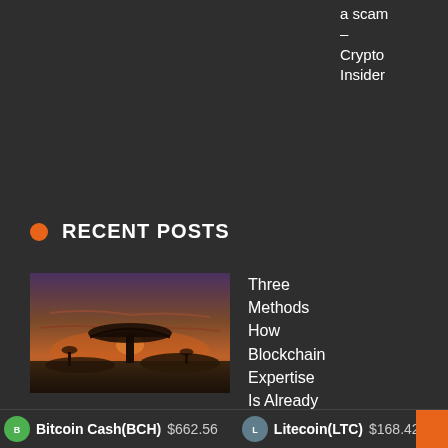a scam – Crypto Insider
RECENT POSTS
[Figure (photo): A silhouette of an acacia tree at sunset against a dramatic orange and purple sky with mountains in the background.]
Three Methods How Blockchain Expertise Is Already Altering The Lives Of 1000's Of Employees In Rising
Bitcoin Cash(BCH) $662.56   Litecoin(LTC) $168.42   Stella